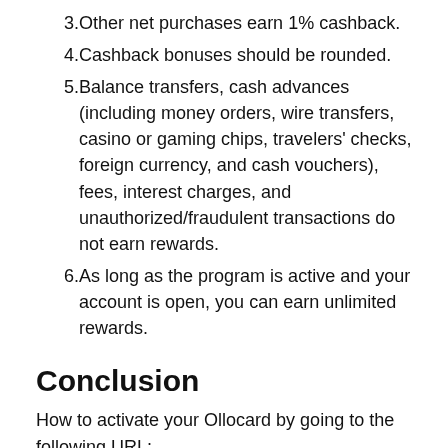3. Other net purchases earn 1% cashback.
4. Cashback bonuses should be rounded.
5. Balance transfers, cash advances (including money orders, wire transfers, casino or gaming chips, travelers' checks, foreign currency, and cash vouchers), fees, interest charges, and unauthorized/fraudulent transactions do not earn rewards.
6. As long as the program is active and your account is open, you can earn unlimited rewards.
Conclusion
How to activate your Ollocard by going to the following URL: https://secure.ollocard.com/activate. Enter Your Information, Including Your Last Name